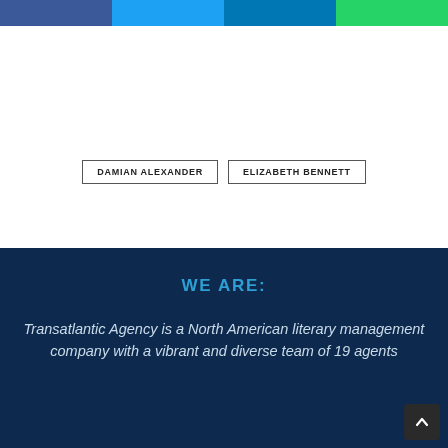[Figure (other): Social media share buttons: Facebook (dark blue), Twitter (light blue), LinkedIn (medium blue), WhatsApp (green)]
DAMIAN ALEXANDER
ELIZABETH BENNETT
WE ARE:
Transatlantic Agency is a North American literary management company with a vibrant and diverse team of 19 agents